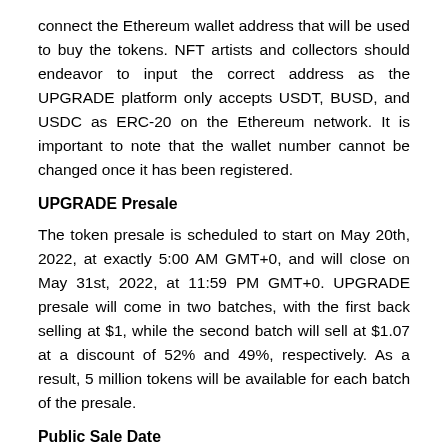connect the Ethereum wallet address that will be used to buy the tokens. NFT artists and collectors should endeavor to input the correct address as the UPGRADE platform only accepts USDT, BUSD, and USDC as ERC-20 on the Ethereum network. It is important to note that the wallet number cannot be changed once it has been registered.
UPGRADE Presale
The token presale is scheduled to start on May 20th, 2022, at exactly 5:00 AM GMT+0, and will close on May 31st, 2022, at 11:59 PM GMT+0. UPGRADE presale will come in two batches, with the first back selling at $1, while the second batch will sell at $1.07 at a discount of 52% and 49%, respectively. As a result, 5 million tokens will be available for each batch of the presale.
Public Sale Date
The UPGRADE token public sale will commence on June